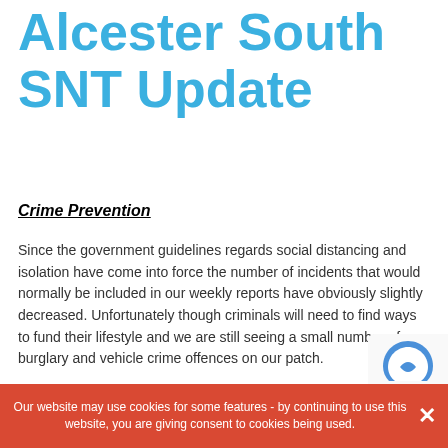Alcester South SNT Update
Crime Prevention
Since the government guidelines regards social distancing and isolation have come into force the number of incidents that would normally be included in our weekly reports have obviously slightly decreased. Unfortunately though criminals will need to find ways to fund their lifestyle and we are still seeing a small number of burglary and vehicle crime offences on our patch.
For Burglary Crime Prevention Advice click here – https://www.warwickshire.police.uk/cp/crime-prevention/non-residential-burglary/
Our website may use cookies for some features - by continuing to use this website, you are giving consent to cookies being used.